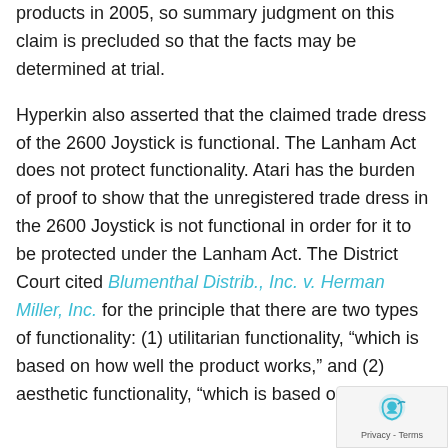products in 2005, so summary judgment on this claim is precluded so that the facts may be determined at trial.
Hyperkin also asserted that the claimed trade dress of the 2600 Joystick is functional. The Lanham Act does not protect functionality. Atari has the burden of proof to show that the unregistered trade dress in the 2600 Joystick is not functional in order for it to be protected under the Lanham Act. The District Court cited Blumenthal Distrib., Inc. v. Herman Miller, Inc. for the principle that there are two types of functionality: (1) utilitarian functionality, "which is based on how well the product works," and (2) aesthetic functionality, "which is based on how